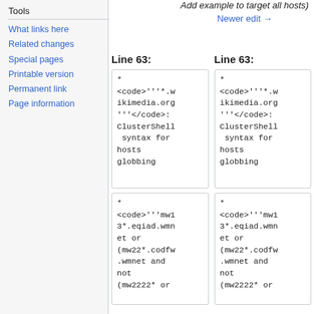Tools
What links here
Related changes
Special pages
Printable version
Permanent link
Page information
Add example to target all hosts)
Newer edit →
Line 63:
Line 63:
*
<code>'''*.wikimedia.org'''</code>: ClusterShell syntax for hosts globbing
*
<code>'''*.wikimedia.org'''</code>: ClusterShell syntax for hosts globbing
*
<code>'''mw13*.eqiad.wmnet or (mw22*.codfw.wmnet and not (mw2222* or
*
<code>'''mw13*.eqiad.wmnet or (mw22*.codfw.wmnet and not (mw2222* or